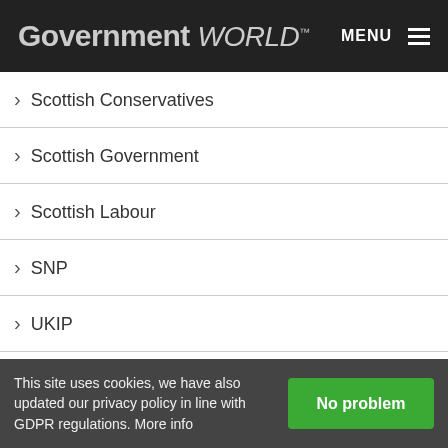Government WORLD™ MENU
> Scottish Conservatives
> Scottish Government
> Scottish Labour
> SNP
> UKIP
> Welsh Government
Follow @govworldmag
Search
This site uses cookies, we have also updated our privacy policy in line with GDPR regulations. More info